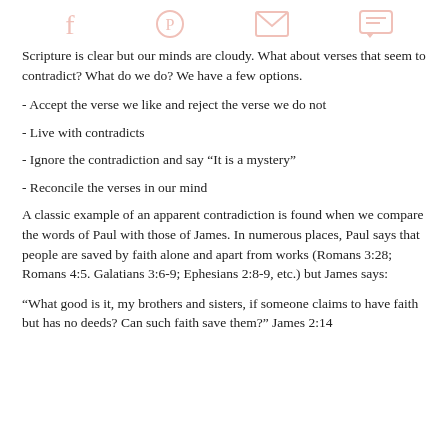[Social share icons: Facebook, Pinterest, Email, Comment]
Scripture is clear but our minds are cloudy. What about verses that seem to contradict? What do we do? We have a few options.
- Accept the verse we like and reject the verse we do not
- Live with contradicts
- Ignore the contradiction and say “It is a mystery”
- Reconcile the verses in our mind
A classic example of an apparent contradiction is found when we compare the words of Paul with those of James. In numerous places, Paul says that people are saved by faith alone and apart from works (Romans 3:28; Romans 4:5. Galatians 3:6-9; Ephesians 2:8-9, etc.) but James says:
“What good is it, my brothers and sisters, if someone claims to have faith but has no deeds? Can such faith save them?” James 2:14